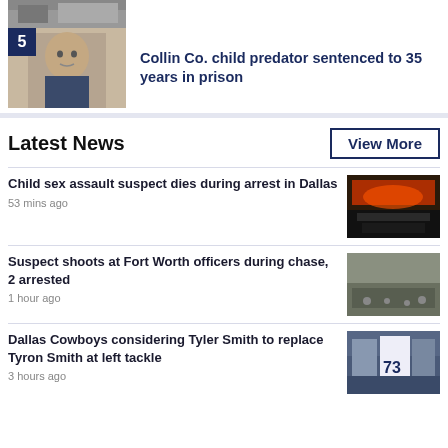[Figure (photo): Partial image of a street scene at top of page]
5
[Figure (photo): Mugshot photo of a man]
Collin Co. child predator sentenced to 35 years in prison
Latest News
View More
Child sex assault suspect dies during arrest in Dallas
53 mins ago
[Figure (photo): Emergency vehicle with red lights at night]
Suspect shoots at Fort Worth officers during chase, 2 arrested
1 hour ago
[Figure (photo): Aerial view of police chase scene]
Dallas Cowboys considering Tyler Smith to replace Tyron Smith at left tackle
3 hours ago
[Figure (photo): Dallas Cowboys players holding jersey #73]